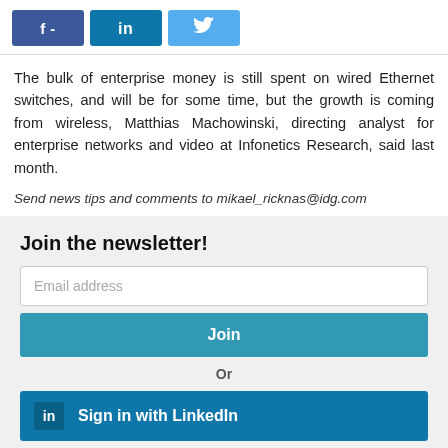[Figure (other): Social share buttons: Facebook (f -), LinkedIn (in), Twitter (bird icon)]
The bulk of enterprise money is still spent on wired Ethernet switches, and will be for some time, but the growth is coming from wireless, Matthias Machowinski, directing analyst for enterprise networks and video at Infonetics Research, said last month.
Send news tips and comments to mikael_ricknas@idg.com
Join the newsletter!
Email address
Join
Or
Sign in with LinkedIn